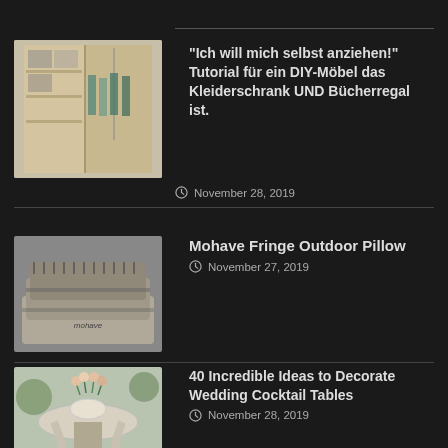"Ich will mich selbst anziehen!" Tutorial für ein DIY-Möbel das Kleiderschrank UND Bücherregal ist. November 28, 2019
Mohave Fringe Outdoor Pillow November 27, 2019
40 Incredible Ideas to Decorate Wedding Cocktail Tables November 28, 2019
38+ The Fundamentals of Persian Rug Bedroom You Will be Able to Learn From Begin… November 27, 2019
Open Plan November 27, 2019